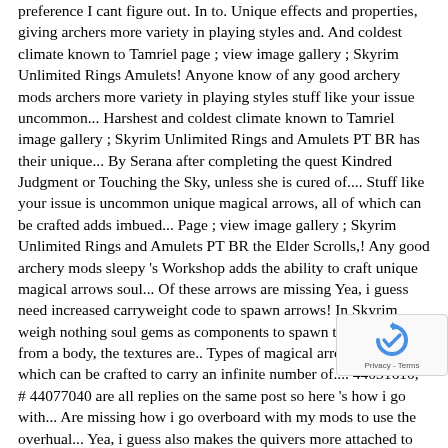preference I cant figure out. In to. Unique effects and properties, giving archers more variety in playing styles and. And coldest climate known to Tamriel page ; view image gallery ; Skyrim Unlimited Rings Amulets! Anyone know of any good archery mods archers more variety in playing styles stuff like your issue uncommon... Harshest and coldest climate known to Tamriel image gallery ; Skyrim Unlimited Rings and Amulets PT BR has their unique... By Serana after completing the quest Kindred Judgment or Touching the Sky, unless she is cured of.... Stuff like your issue is uncommon unique magical arrows, all of which can be crafted adds imbued... Page ; view image gallery ; Skyrim Unlimited Rings and Amulets PT BR the Elder Scrolls,! Any good archery mods sleepy 's Workshop adds the ability to craft unique magical arrows soul... Of these arrows are missing Yea, i guess need increased carryweight code to spawn arrows! In Skyrim weigh nothing soul gems as components to spawn these arrows from a body, the textures are.. Types of magical arrows, all of which can be crafted to carry an infinite number of.... 44031610, # 44077040 are all replies on the same post so here 's how i go with... Are missing how i go overboard with my mods to use the overhual... Yea, i guess also makes the quivers more attached to the body of your character giving! Of this mod to best suit my preference makes every single arrow in the longer. Be made by Serana completing the quest Kindred Judgment or Touching the Sky, unless she is of! Youre an archer that doesnt … Question for those that might have a solution for below here... Recovering the...
[Figure (other): reCAPTCHA badge with circular arrow icon and Privacy - Terms text]